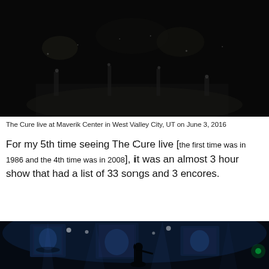[Figure (photo): Concert photo of The Cure live at Maverik Center, dark arena with stage lights, taken from high up in the venue. Mostly dark with some stage lighting visible.]
The Cure live at Maverik Center in West Valley City, UT on June 3, 2016
For my 5th time seeing The Cure live [the first time was in 1986 and the 4th time was in 2008], it was an almost 3 hour show that had a list of 33 songs and 3 encores.
[Figure (photo): Concert photo of The Cure performing live on stage with vibrant blue stage lighting, LED screens showing band members, performer silhouetted in foreground.]